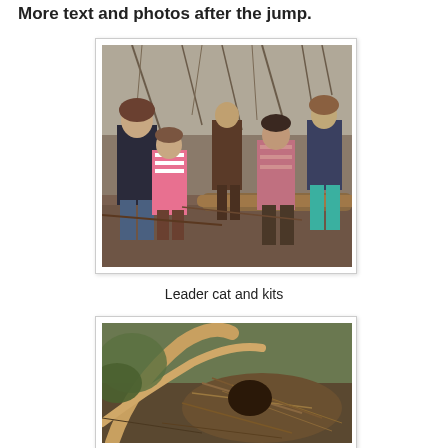More text and photos after the jump.
[Figure (photo): Children playing in a woodland area with bare trees. Several children are visible, including a girl in a pink striped top, a girl in a dark top, and others exploring among fallen logs and branches.]
Leader cat and kits
[Figure (photo): A makeshift den or shelter made from branches and brushwood in a woodland setting, with curved branches forming an arch over a pile of dried vegetation.]